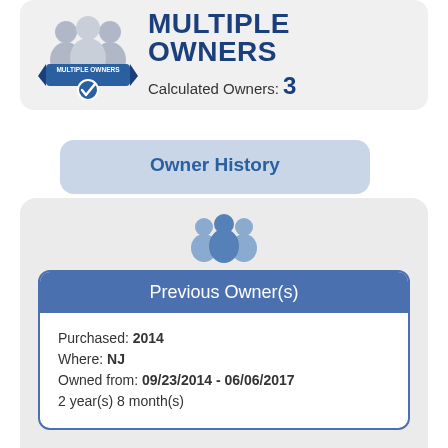[Figure (illustration): Multiple owners badge icon with two people silhouettes and a blue ribbon labeled MULTIPLE OWNERS with a checkmark]
MULTIPLE OWNERS
Calculated Owners: 3
Owner History
[Figure (illustration): Multiple person silhouette icon in blue/grey]
Previous Owner(s)
Purchased: 2014
Where: NJ
Owned from: 09/23/2014 - 06/06/2017
2 year(s) 8 month(s)
[Figure (illustration): Single person silhouette icon in blue]
Last Owner
Purchased: 2017